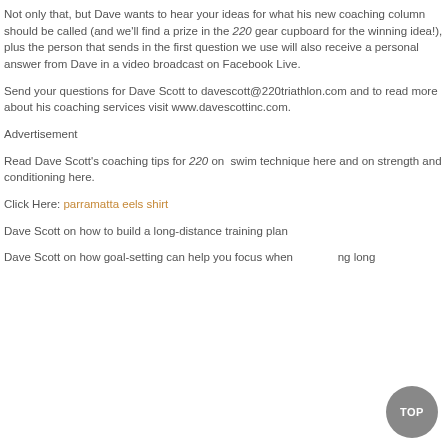Not only that, but Dave wants to hear your ideas for what his new coaching column should be called (and we'll find a prize in the 220 gear cupboard for the winning idea!), plus the person that sends in the first question we use will also receive a personal answer from Dave in a video broadcast on Facebook Live.
Send your questions for Dave Scott to davescott@220triathlon.com and to read more about his coaching services visit www.davescottinc.com.
Advertisement
Read Dave Scott's coaching tips for 220 on swim technique here and on strength and conditioning here.
Click Here: parramatta eels shirt
Dave Scott on how to build a long-distance training plan
Dave Scott on how goal-setting can help you focus when training long